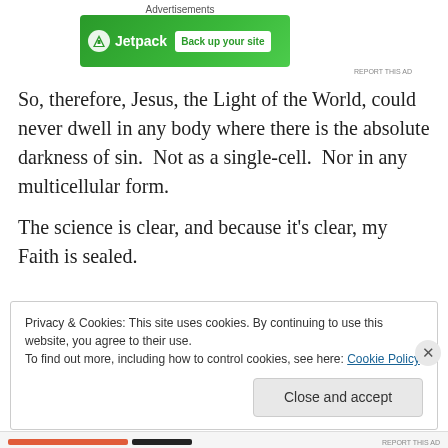[Figure (other): Jetpack advertisement banner with green background, Jetpack logo and 'Back up your site' button]
So, therefore, Jesus, the Light of the World, could never dwell in any body where there is the absolute darkness of sin.  Not as a single-cell.  Nor in any multicellular form.
The science is clear, and because it's clear, my Faith is sealed.
Privacy & Cookies: This site uses cookies. By continuing to use this website, you agree to their use.
To find out more, including how to control cookies, see here: Cookie Policy